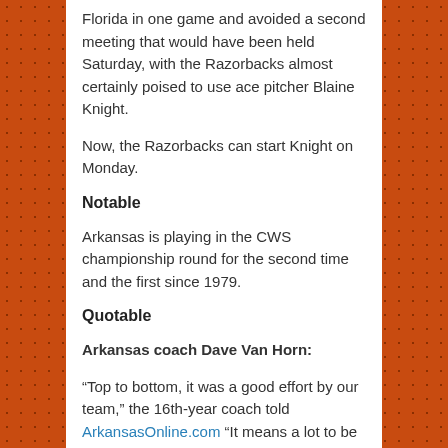Florida in one game and avoided a second meeting that would have been held Saturday, with the Razorbacks almost certainly poised to use ace pitcher Blaine Knight.
Now, the Razorbacks can start Knight on Monday.
Notable
Arkansas is playing in the CWS championship round for the second time and the first since 1979.
Quotable
Arkansas coach Dave Van Horn:
“Top to bottom, it was a good effort by our team,” the 16th-year coach told ArkansasOnline.com “It means a lot to be here, but we still have work to do.”
Florida coach Kevin O’Sullivan: